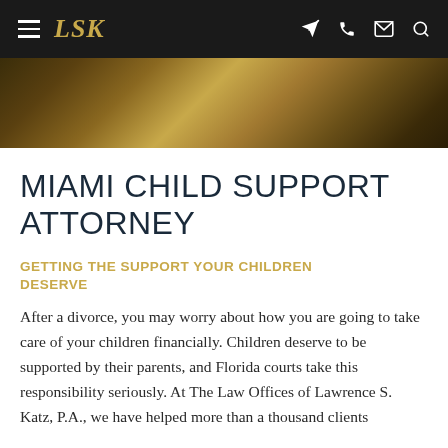LSK
[Figure (photo): Gold and dark brown gradient banner image]
MIAMI CHILD SUPPORT ATTORNEY
GETTING THE SUPPORT YOUR CHILDREN DESERVE
After a divorce, you may worry about how you are going to take care of your children financially. Children deserve to be supported by their parents, and Florida courts take this responsibility seriously. At The Law Offices of Lawrence S. Katz, P.A., we have helped more than a thousand clients